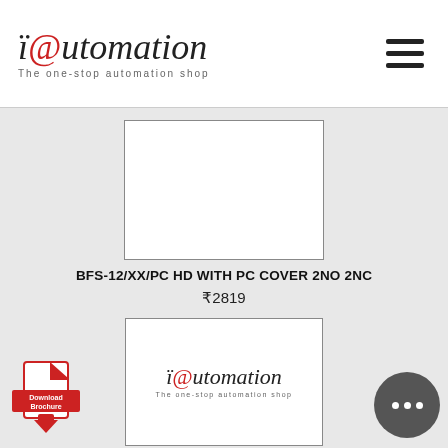iautomation - The one-stop automation shop
[Figure (photo): Product image placeholder - white rectangle with border for BFS-12/XX/PC HD WITH PC COVER 2NO 2NC]
BFS-12/XX/PC HD WITH PC COVER 2NO 2NC
₹2819
[Figure (photo): Second product image showing iAutomation logo - The one-stop automation shop]
[Figure (other): Download Brochure button - red PDF icon with download arrow]
[Figure (other): Chat button - dark circle with three dots]